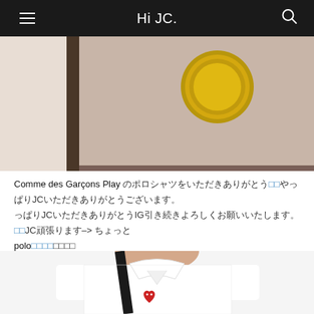Hi JC.
[Figure (photo): Partial view of a beige/pink crossbody bag with gold hardware and dark brown leather strap]
Comme des Garçons Play のポロシャツをいただきありがとうJCいただきありがとうございます。JCいただきありがとうやっぱりIG引き続きよろしくお願いいたします。JC頑張ります–>ちょっと polo引き続きよろしく
[Figure (photo): Woman wearing a white Comme des Garçons Play polo shirt with red heart logo patch, carrying a black bag strap]